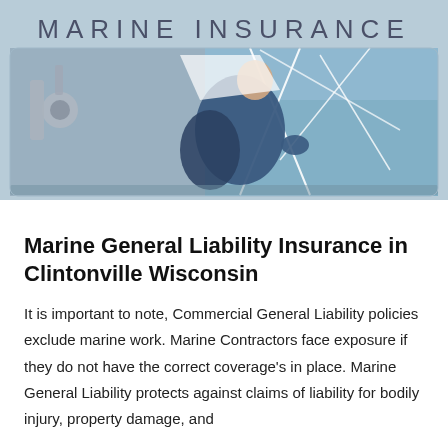[Figure (photo): Header banner with 'MARINE INSURANCE' text overlay on a photo of a person on a sailboat handling ropes and rigging, with blue ocean in the background.]
Marine General Liability Insurance in Clintonville Wisconsin
It is important to note, Commercial General Liability policies exclude marine work. Marine Contractors face exposure if they do not have the correct coverage's in place. Marine General Liability protects against claims of liability for bodily injury, property damage, and